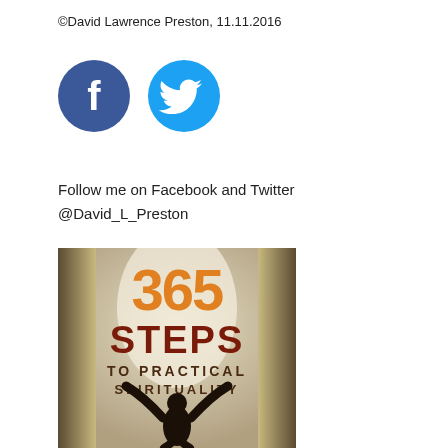©David Lawrence Preston, 11.11.2016
[Figure (illustration): Facebook and Twitter social media icons: blue Facebook circle icon with white 'f' and light blue Twitter circle icon with white bird logo]
Follow me on Facebook and Twitter
@David_L_Preston
[Figure (photo): Book cover image for '365 Steps to Practical Spirituality' showing a silhouette of a person with arms raised against a bright background, with orange '365' text and dark red 'STEPS' text and brown subtitle 'TO PRACTICAL SPIRITUALITY']